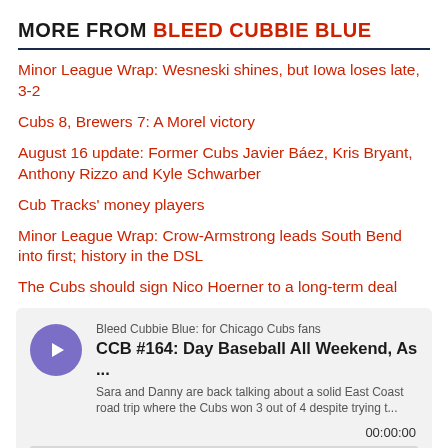MORE FROM BLEED CUBBIE BLUE
Minor League Wrap: Wesneski shines, but Iowa loses late, 3-2
Cubs 8, Brewers 7: A Morel victory
August 16 update: Former Cubs Javier Báez, Kris Bryant, Anthony Rizzo and Kyle Schwarber
Cub Tracks' money players
Minor League Wrap: Crow-Armstrong leads South Bend into first; history in the DSL
The Cubs should sign Nico Hoerner to a long-term deal
[Figure (other): Podcast player card for 'Bleed Cubbie Blue: for Chicago Cubs fans' — CCB #164: Day Baseball All Weekend, As ... with play button, description text, and 00:00:00 timestamp]